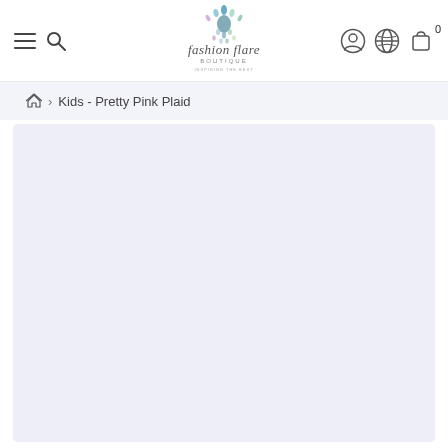[Figure (logo): Fashion Flare Boutique logo with peacock and gem/crystal decorations, text reads 'fashion flare BOUTIQUE']
🏠 > Kids - Pretty Pink Plaid
[Figure (other): Light lavender/blue empty product image placeholder area]